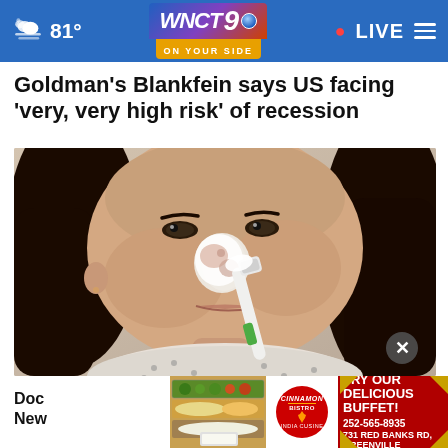81° WNCT9 ON YOUR SIDE · LIVE
Goldman's Blankfein says US facing 'very, very high risk' of recession
[Figure (photo): Woman applying white cream/face mask to her nose with a toothbrush-style tool]
Doc... New...
[Figure (photo): Ad banner: food buffet image, Cinnamon Bistro India Cuisine logo, TRY OUR DELICIOUS BUFFET! 252-565-8935 731 RED BANKS RD, GREENVILLE]